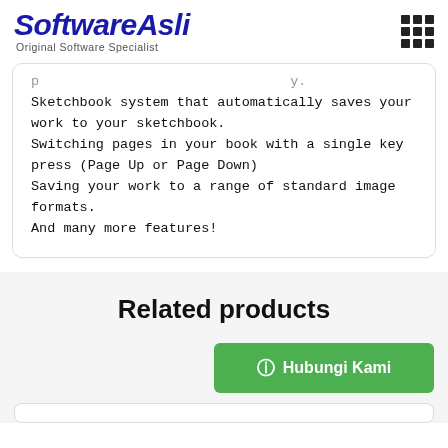SoftwareAsli — Original Software Specialist
Sketchbook system that automatically saves your work to your sketchbook.
Switching pages in your book with a single key press (Page Up or Page Down)
Saving your work to a range of standard image formats.
And many more features!
Related products
Hubungi Kami